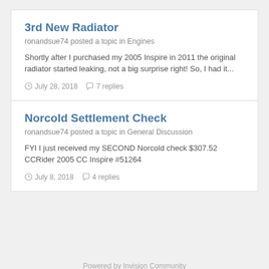3rd New Radiator
ronandsue74 posted a topic in Engines
Shortly after I purchased my 2005 Inspire in 2011 the original radiator started leaking, not a big surprise right! So, I had it...
July 28, 2018  7 replies
Norcold Settlement Check
ronandsue74 posted a topic in General Discussion
FYI I just received my SECOND Norcold check $307.52 CCRider 2005 CC Inspire #51264
July 8, 2018  4 replies
Powered by Invision Community